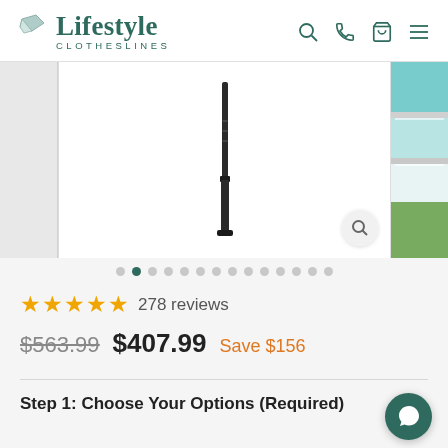Lifestyle Clotheslines
[Figure (photo): Product image carousel showing a clothesline post/ground anchor on white background, with thumbnail images on the sides. One thumbnail shows a clothesline with blue/teal panels outdoors on grass.]
★★★★★ 278 reviews
$563.99  $407.99  Save $156
Step 1: Choose Your Options (Required)